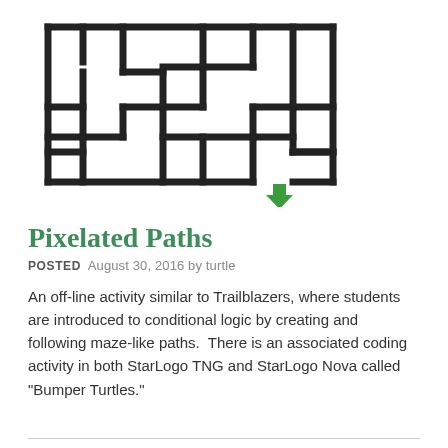[Figure (illustration): A maze illustration with thick black lines on white background, featuring a green downward-pointing arrow at the bottom exit of the maze.]
Pixelated Paths
POSTED  August 30, 2016 by turtle
An off-line activity similar to Trailblazers, where students are introduced to conditional logic by creating and following maze-like paths.  There is an associated coding activity in both StarLogo TNG and StarLogo Nova called "Bumper Turtles."